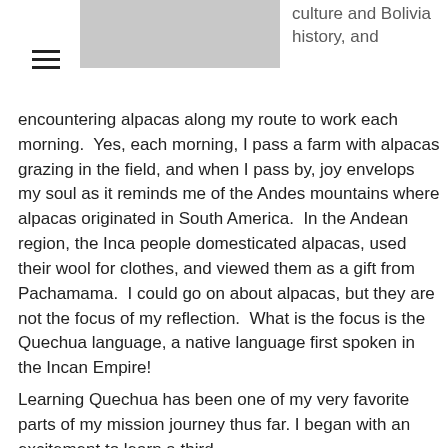[Figure (photo): A partially visible image at the top center of the page, showing a gray/blurred rectangular image area.]
culture and Bolivia history, and
encountering alpacas along my route to work each morning.  Yes, each morning, I pass a farm with alpacas grazing in the field, and when I pass by, joy envelops my soul as it reminds me of the Andes mountains where alpacas originated in South America.  In the Andean region, the Inca people domesticated alpacas, used their wool for clothes, and viewed them as a gift from Pachamama.  I could go on about alpacas, but they are not the focus of my reflection.  What is the focus is the Quechua language, a native language first spoken in the Incan Empire!

Learning Quechua has been one of my very favorite parts of my mission journey thus far. I began with an excitement to learn a third